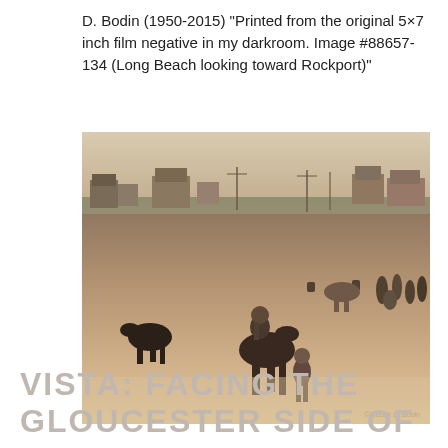D. Bodin (1950-2015) "Printed from the original 5×7 inch film negative in my darkroom. Image #88657-134 (Long Beach looking toward Rockport)"
[Figure (photo): Sepia-toned black and white photograph of Long Beach looking toward Rockport. People and horses on a sandy beach, with houses and utility poles visible on the horizon. A rider on horseback is in the center foreground, and a group of people stand to the right. A smaller dark horse is to the left. Copyright watermark reads ©Fredrik D. Bodin.]
VISTA: FACING THE GLOUCESTER SIDE OF